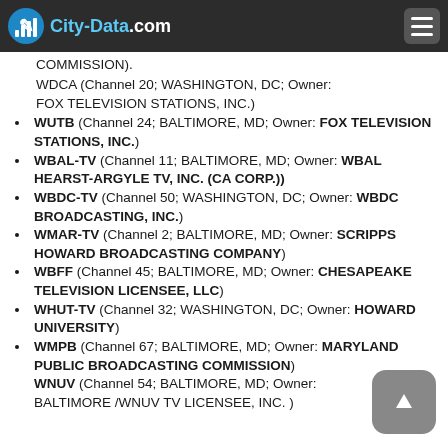City-Data.com
COMMISSION).
WDCA (Channel 20; WASHINGTON, DC; Owner: FOX TELEVISION STATIONS, INC.)
WUTB (Channel 24; BALTIMORE, MD; Owner: FOX TELEVISION STATIONS, INC.)
WBAL-TV (Channel 11; BALTIMORE, MD; Owner: WBAL HEARST-ARGYLE TV, INC. (CA CORP.))
WBDC-TV (Channel 50; WASHINGTON, DC; Owner: WBDC BROADCASTING, INC.)
WMAR-TV (Channel 2; BALTIMORE, MD; Owner: SCRIPPS HOWARD BROADCASTING COMPANY)
WBFF (Channel 45; BALTIMORE, MD; Owner: CHESAPEAKE TELEVISION LICENSEE, LLC)
WHUT-TV (Channel 32; WASHINGTON, DC; Owner: HOWARD UNIVERSITY)
WMPB (Channel 67; BALTIMORE, MD; Owner: MARYLAND PUBLIC BROADCASTING COMMISSION)
WNUV (Channel 54; BALTIMORE, MD; Owner: BALTIMORE/WNUV TV LICENSEE, INC.)